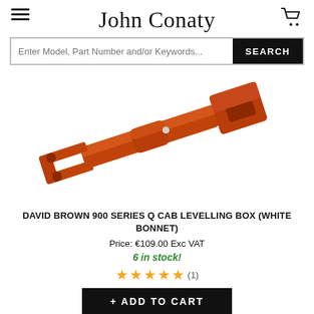John Conaty
Enter Model, Part Number and/or Keywords...  SEARCH
[Figure (photo): Orange/rust-colored mechanical levelling box component for David Brown 900 Series Q Cab tractor, shown diagonally on white background]
DAVID BROWN 900 SERIES Q CAB LEVELLING BOX (WHITE BONNET)
Price: €109.00 Exc VAT
6 in stock!
★★★★★ (1)
+ ADD TO CART